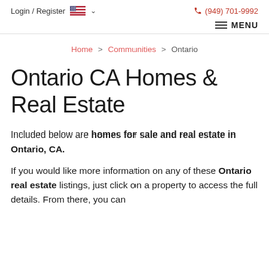Login / Register  (949) 701-9992  MENU
Home > Communities > Ontario
Ontario CA Homes & Real Estate
Included below are homes for sale and real estate in Ontario, CA.
If you would like more information on any of these Ontario real estate listings, just click on a property to access the full details. From there, you can